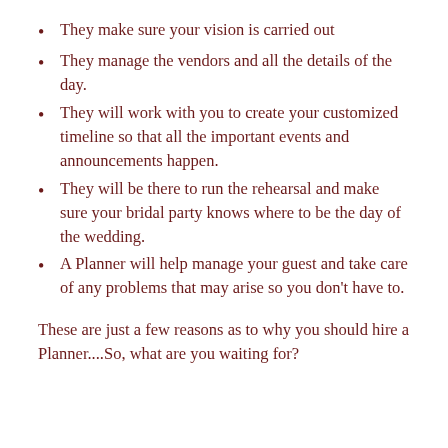They make sure your vision is carried out
They manage the vendors and all the details of the day.
They will work with you to create your customized timeline so that all the important events and announcements happen.
They will be there to run the rehearsal and make sure your bridal party knows where to be the day of the wedding.
A Planner will help manage your guest and take care of any problems that may arise so you don't have to.
These are just a few reasons as to why you should hire a Planner....So, what are you waiting for?